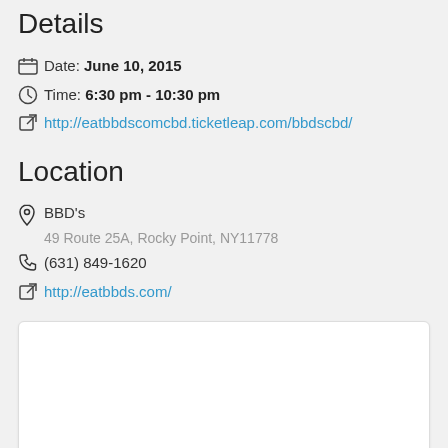Details
Date: June 10, 2015
Time: 6:30 pm - 10:30 pm
http://eatbbdscomcbd.ticketleap.com/bbdscbd/
Location
BBD's
49 Route 25A, Rocky Point, NY11778
(631) 849-1620
http://eatbbds.com/
[Figure (map): Embedded map placeholder showing location of BBD's at 49 Route 25A, Rocky Point, NY11778]